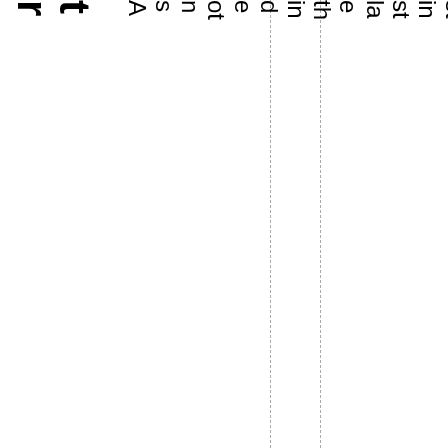urt As noted in the last installment of L